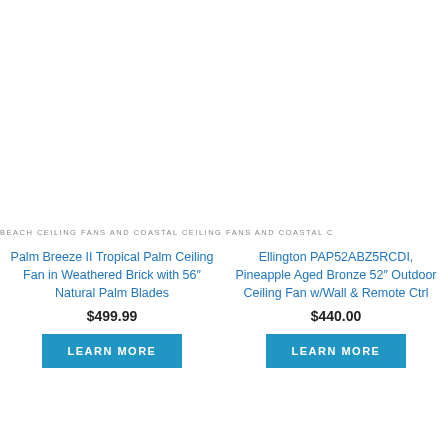BEACH CEILING FANS AND COASTAL CEILING FANS AND COASTAL C
Palm Breeze II Tropical Palm Ceiling Fan in Weathered Brick with 56″ Natural Palm Blades
$499.99
LEARN MORE
Ellington PAP52ABZ5RCDI, Pineapple Aged Bronze 52″ Outdoor Ceiling Fan w/Wall & Remote Ctrl
$440.00
LEARN MORE